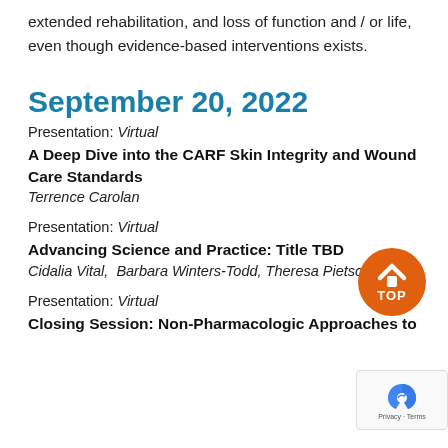extended rehabilitation, and loss of function and / or life, even though evidence-based interventions exists.
September 20, 2022
Presentation: Virtual
A Deep Dive into the CARF Skin Integrity and Wound Care Standards
Terrence Carolan
Presentation: Virtual
Advancing Science and Practice: Title TBD
Cidalia Vital,  Barbara Winters-Todd, Theresa Pietsch
Presentation: Virtual
Closing Session: Non-Pharmacologic Approaches to